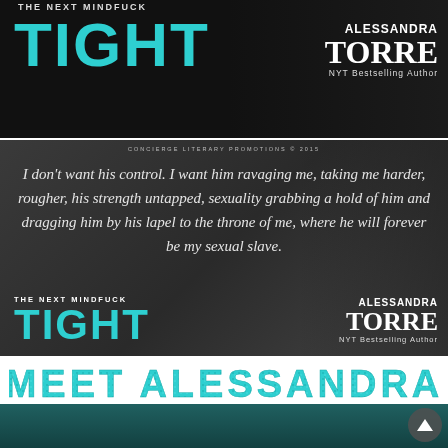[Figure (illustration): Book cover banner for 'Tight – The Next Mindfuck' by Alessandra Torre, NYT Bestselling Author. Dark background with teal bold title text 'TIGHT' on the left and author name 'Alessandra Torre' on the right.]
[Figure (illustration): Promotional quote image on dark/grayscale background with handwritten-style text: 'I don't want his control. I want him ravaging me, taking me harder, rougher, his strength untapped, sexuality grabbing a hold of him and dragging him by his lapel to the throne of me, where he will forever be my sexual slave.' Book details at bottom: 'THE NEXT MINDFUCK – TIGHT' by Alessandra Torre, NYT Bestselling Author. Concierge Literary Promotions © 2015 credited at top.]
MEET ALESSANDRA
[Figure (photo): Partial photo of Alessandra Torre, cropped at bottom of page, teal-tinted.]